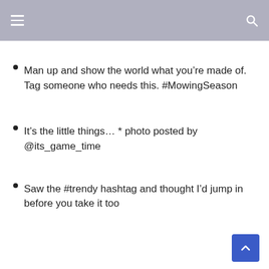Man up and show the world what you’re made of. Tag someone who needs this. #MowingSeason
It’s the little things… * photo posted by @its_game_time
Saw the #trendy hashtag and thought I’d jump in before you take it too